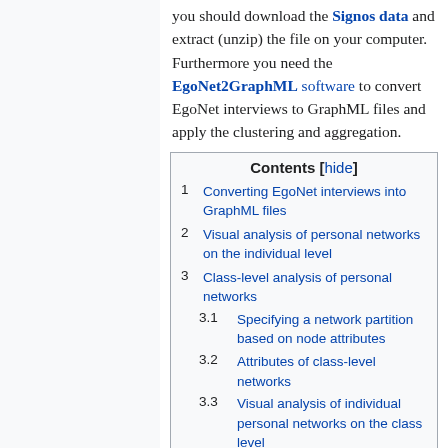you should download the Signos data and extract (unzip) the file on your computer. Furthermore you need the EgoNet2GraphML software to convert EgoNet interviews to GraphML files and apply the clustering and aggregation.
| Contents [hide] |
| --- |
| 1 | Converting EgoNet interviews into GraphML files |
| 2 | Visual analysis of personal networks on the individual level |
| 3 | Class-level analysis of personal networks |
| 3.1 | Specifying a network partition based on node attributes |
| 3.2 | Attributes of class-level networks |
| 3.3 | Visual analysis of individual personal networks on the class level |